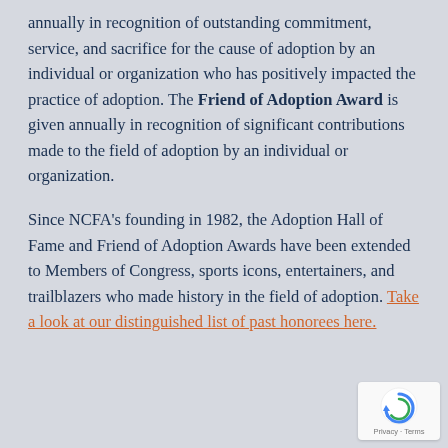annually in recognition of outstanding commitment, service, and sacrifice for the cause of adoption by an individual or organization who has positively impacted the practice of adoption. The Friend of Adoption Award is given annually in recognition of significant contributions made to the field of adoption by an individual or organization.
Since NCFA's founding in 1982, the Adoption Hall of Fame and Friend of Adoption Awards have been extended to Members of Congress, sports icons, entertainers, and trailblazers who made history in the field of adoption. Take a look at our distinguished list of past honorees here.